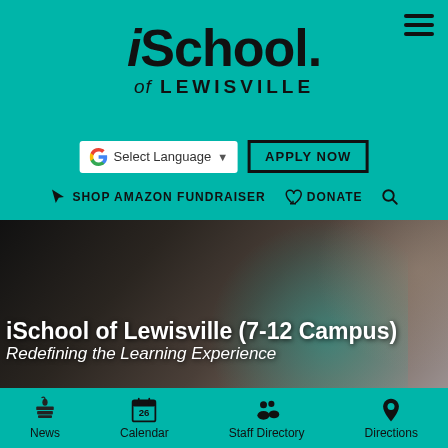iSchool of LEWISVILLE
[Figure (other): Google Translate 'Select Language' button with dropdown arrow]
[Figure (other): APPLY NOW button with black border]
[Figure (other): Navigation bar with SHOP AMAZON FUNDRAISER, DONATE, and search icon]
[Figure (photo): Student looking through a teal/turquoise microscope, close-up photo]
iSchool of Lewisville (7-12 Campus)
Redefining the Learning Experience
[Figure (other): Footer navigation with icons: News (apple/books icon), Calendar (26), Staff Directory (people icon), Directions (location pin icon)]